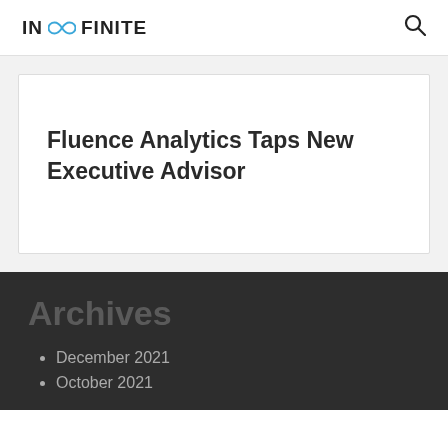IN ∞ FINITE
Fluence Analytics Taps New Executive Advisor
Archives
December 2021
October 2021